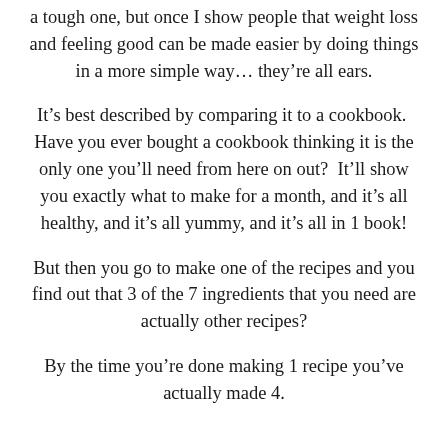a tough one, but once I show people that weight loss and feeling good can be made easier by doing things in a more simple way… they're all ears.
It's best described by comparing it to a cookbook. Have you ever bought a cookbook thinking it is the only one you'll need from here on out? It'll show you exactly what to make for a month, and it's all healthy, and it's all yummy, and it's all in 1 book!
But then you go to make one of the recipes and you find out that 3 of the 7 ingredients that you need are actually other recipes?
By the time you're done making 1 recipe you've actually made 4.